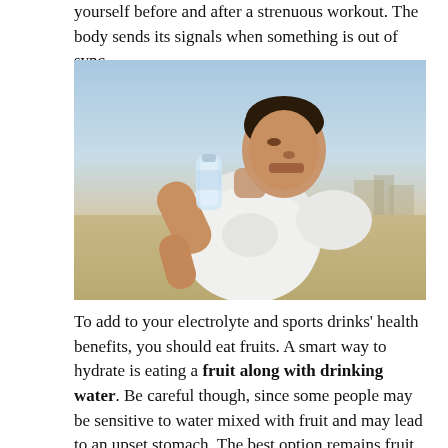yourself before and after a strenuous workout. The body sends its signals when something is out of sync.
[Figure (photo): A man in a white t-shirt drinking water from a plastic bottle outdoors, with a hazy sky and distant buildings in the background.]
To add to your electrolyte and sports drinks' health benefits, you should eat fruits. A smart way to hydrate is eating a fruit along with drinking water. Be careful though, since some people may be sensitive to water mixed with fruit and may lead to an upset stomach. The best option remains fruit juices mixed with water, to remove the cellulose and simply absorb the all-important vitamins